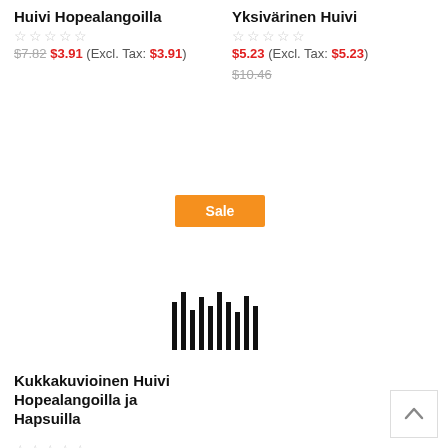Huivi Hopealangoilla
☆☆☆☆☆
$7.82  $3.91 (Excl. Tax: $3.91)
Yksivärinen Huivi
☆☆☆☆☆
$5.23 (Excl. Tax: $5.23)  $10.46
[Figure (other): Orange Sale button]
[Figure (other): Barcode / sound wave icon]
Kukkakuvioinen Huivi Hopealangoilla ja Hapsuilla
☆☆☆☆☆
$3.43 (Excl. Tax: $3.43)
$7.82